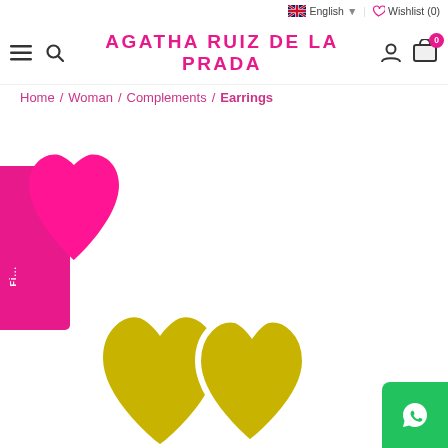English | Wishlist (0)
AGATHA RUIZ DE LA PRADA
Home / Woman / Complements / Earrings
[Figure (photo): Pink rectangular filter panel with a bright pink heart shape on the left side of the page, with a small white label]
[Figure (photo): Yellow/olive heart-shaped sticker earrings with white outline, shown at the bottom center of the page]
[Figure (logo): WhatsApp icon button in green at the bottom right corner]